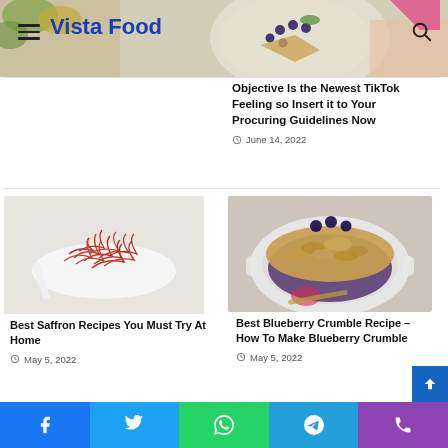Vista Food
[Figure (photo): Food blog header image with colorful fruits and food on plates, with hamburger menu icon and search icon]
Objective Is the Newest TikTok Feeling so Insert it to Your Procuring Guidelines Now
June 14, 2022
[Figure (photo): Saffron strands on a white ceramic spoon against a light background]
Best Saffron Recipes You Must Try At Home
May 5, 2022
[Figure (photo): Blueberry crumble in a white ceramic baking dish, top-down view]
Best Blueberry Crumble Recipe – How To Make Blueberry Crumble
May 5, 2022
Social share bar: Facebook, Twitter, WhatsApp, Telegram, Phone